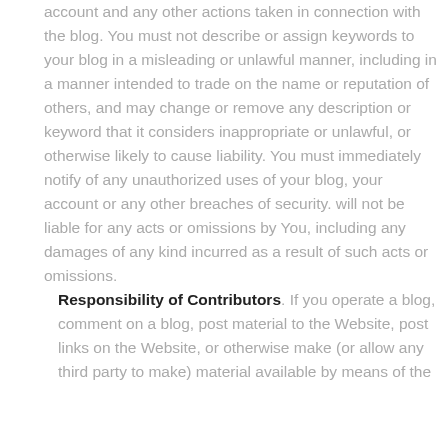account and any other actions taken in connection with the blog. You must not describe or assign keywords to your blog in a misleading or unlawful manner, including in a manner intended to trade on the name or reputation of others, and may change or remove any description or keyword that it considers inappropriate or unlawful, or otherwise likely to cause liability. You must immediately notify of any unauthorized uses of your blog, your account or any other breaches of security. will not be liable for any acts or omissions by You, including any damages of any kind incurred as a result of such acts or omissions.
2. Responsibility of Contributors. If you operate a blog, comment on a blog, post material to the Website, post links on the Website, or otherwise make (or allow any third party to make) material available by means of the